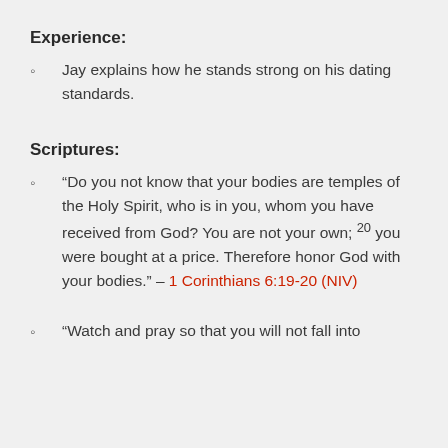Experience:
Jay explains how he stands strong on his dating standards.
Scriptures:
“Do you not know that your bodies are temples of the Holy Spirit, who is in you, whom you have received from God? You are not your own; 20 you were bought at a price. Therefore honor God with your bodies.” – 1 Corinthians 6:19-20 (NIV)
“Watch and pray so that you will not fall into